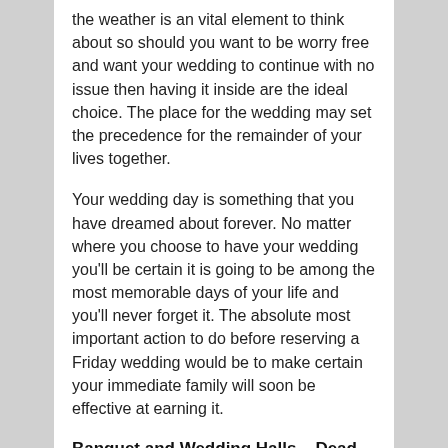the weather is an vital element to think about so should you want to be worry free and want your wedding to continue with no issue then having it inside are the ideal choice. The place for the wedding may set the precedence for the remainder of your lives together.
Your wedding day is something that you have dreamed about forever. No matter where you choose to have your wedding you'll be certain it is going to be among the most memorable days of your life and you'll never forget it. The absolute most important action to do before reserving a Friday wedding would be to make certain your immediate family will soon be effective at earning it.
Banquet and Wedding Halls – Dead or Alive?